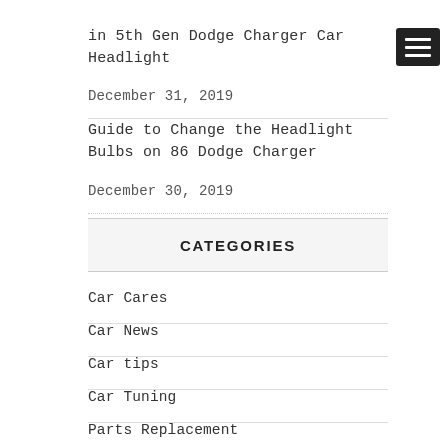in 5th Gen Dodge Charger Car Headlight
December 31, 2019
Guide to Change the Headlight Bulbs on 86 Dodge Charger
December 30, 2019
CATEGORIES
Car Cares
Car News
Car tips
Car Tuning
Parts Replacement